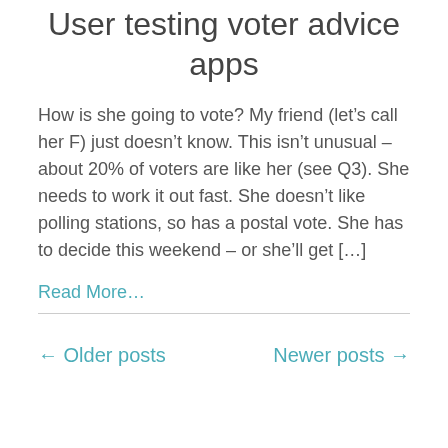User testing voter advice apps
How is she going to vote? My friend (let’s call her F) just doesn’t know. This isn’t unusual – about 20% of voters are like her (see Q3). She needs to work it out fast. She doesn’t like polling stations, so has a postal vote. She has to decide this weekend – or she’ll get […]
Read More…
← Older posts    Newer posts →